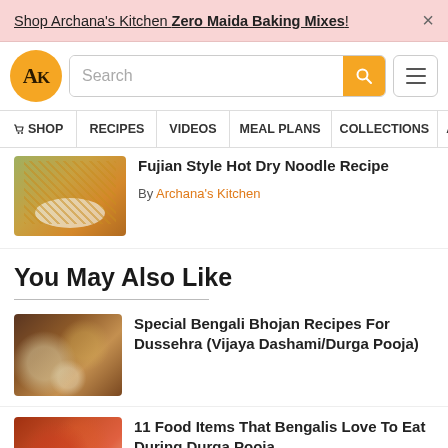Shop Archana's Kitchen Zero Maida Baking Mixes! ×
[Figure (screenshot): Archana's Kitchen website navigation bar with logo, search box, and hamburger menu]
Fujian Style Hot Dry Noodle Recipe
By Archana's Kitchen
You May Also Like
Special Bengali Bhojan Recipes For Dussehra (Vijaya Dashami/Durga Pooja)
11 Food Items That Bengalis Love To Eat During Durga Pooja